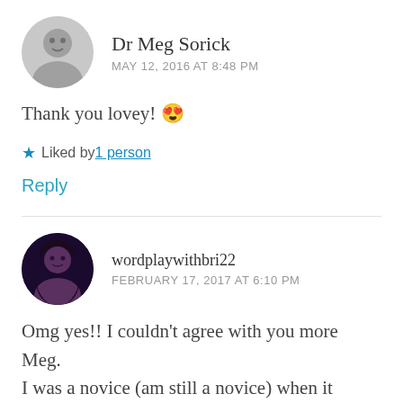[Figure (photo): Circular avatar photo of Dr Meg Sorick, black and white]
Dr Meg Sorick
MAY 12, 2016 AT 8:48 PM
Thank you lovey! 😍
★ Liked by 1 person
Reply
[Figure (photo): Circular avatar photo of wordplaywithbri22, dark photo of a woman]
wordplaywithbri22
FEBRUARY 17, 2017 AT 6:10 PM
Omg yes!! I couldn't agree with you more Meg. I was a novice (am still a novice) when it comes to poetry, but it has opened up a new perspective on writing for me with my son of